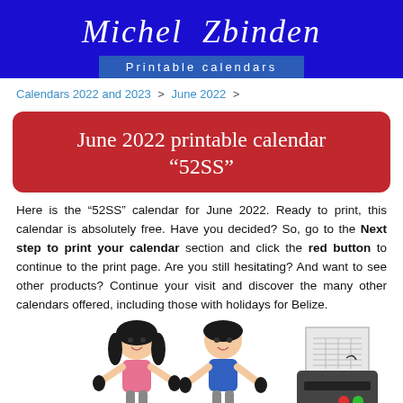Michel Zbinden
Printable calendars
Calendars 2022 and 2023 > June 2022 >
June 2022 printable calendar “52SS”
Here is the “52SS” calendar for June 2022. Ready to print, this calendar is absolutely free. Have you decided? So, go to the Next step to print your calendar section and click the red button to continue to the print page. Are you still hesitating? And want to see other products? Continue your visit and discover the many other calendars offered, including those with holidays for Belize.
[Figure (illustration): Two cartoon children (a girl and a boy) and a printer with a calendar page coming out.]